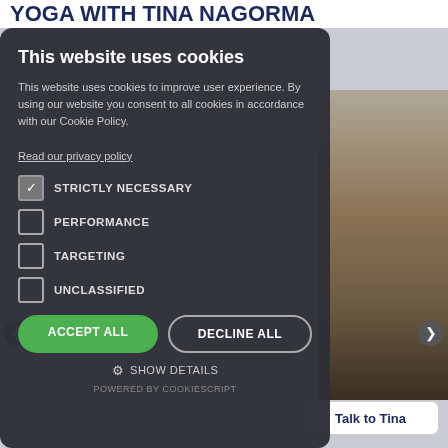YOGA WITH TINA NAGORMA
[Figure (screenshot): Cookie consent modal overlaid on a website. Background shows partial website content with price '£10 per hour', a photo of a couch/person, and navigation arrows. The modal has a dark background with cookie consent options.]
This website uses cookies
This website uses cookies to improve user experience. By using our website you consent to all cookies in accordance with our Cookie Policy.
Read our privacy policy
STRICTLY NECESSARY
PERFORMANCE
TARGETING
UNCLASSIFIED
ACCEPT ALL
DECLINE ALL
SHOW DETAILS
POWERED BY COOKIESCRIPT
Talk to Tina